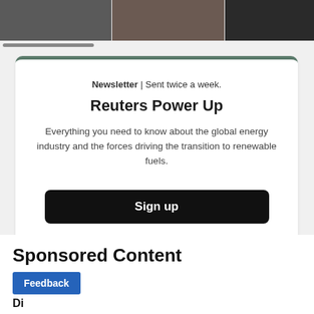[Figure (photo): Three thumbnail images side by side showing news article images, partially visible at top of page]
Newsletter | Sent twice a week.
Reuters Power Up
Everything you need to know about the global energy industry and the forces driving the transition to renewable fuels.
Sign up
Sponsored Content
Feedback
Di...